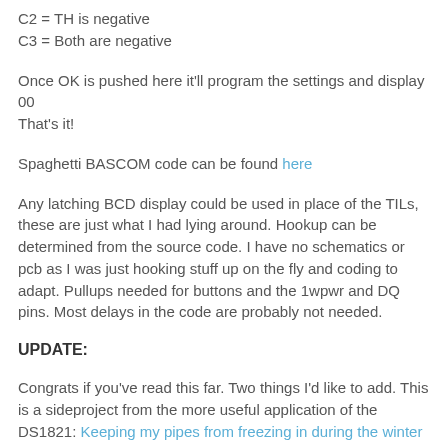C2 = TH is negative
C3 = Both are negative
Once OK is pushed here it'll program the settings and display 00
That's it!
Spaghetti BASCOM code can be found here
Any latching BCD display could be used in place of the TILs, these are just what I had lying around. Hookup can be determined from the source code. I have no schematics or pcb as I was just hooking stuff up on the fly and coding to adapt. Pullups needed for buttons and the 1wpwr and DQ pins. Most delays in the code are probably not needed.
UPDATE:
Congrats if you've read this far. Two things I'd like to add. This is a sideproject from the more useful application of the DS1821: Keeping my pipes from freezing in during the winter